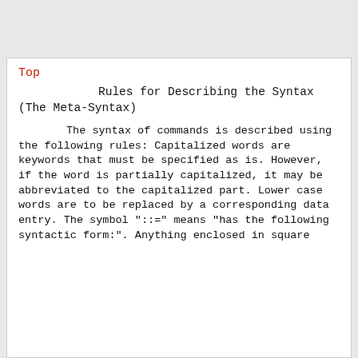Top
Rules for Describing the Syntax (The Meta-Syntax)
The syntax of commands is described using the following rules: Capitalized words are keywords that must be specified as is. However, if the word is partially capitalized, it may be abbreviated to the capitalized part. Lower case words are to be replaced by a corresponding data entry. The symbol "::=" means "has the following syntactic form:". Anything enclosed in square